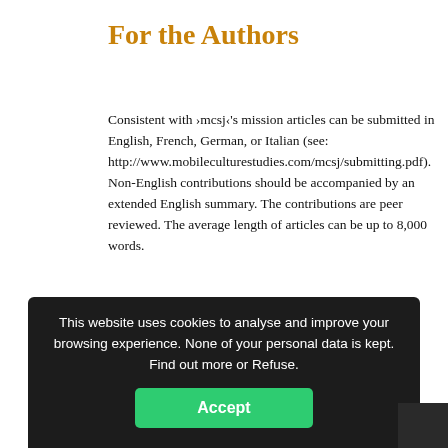For the Authors
Consistent with ›mcsj‹'s mission articles can be submitted in English, French, German, or Italian (see: http://www.mobileculturestudies.com/mcsj/submitting.pdf). Non-English contributions should be accompanied by an extended English summary. The contributions are peer reviewed. The average length of articles can be up to 8,000 words.
Suggestions, including a title, an abstract of approximately 350 words and a short CV, should be addressed to the guest editors:
Pedro Josechu Grana, Jeffrey Bolsens, Fimberg research fellow, ... Jewish Studies – University of Graz
This website uses cookies to analyse and improve your browsing experience. None of your personal data is kept. Find out more or Refuse.
Accept